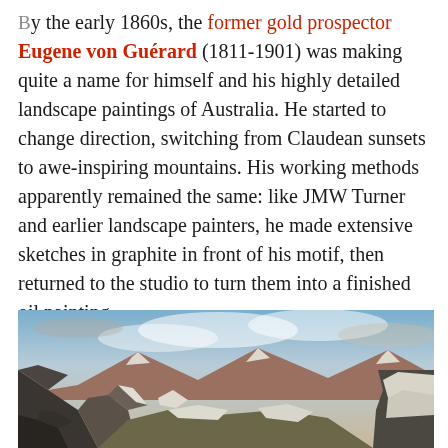By the early 1860s, the former gold prospector Eugene von Guérard (1811-1901) was making quite a name for himself and his highly detailed landscape paintings of Australia. He started to change direction, switching from Claudean sunsets to awe-inspiring mountains. His working methods apparently remained the same: like JMW Turner and earlier landscape painters, he made extensive sketches in graphite in front of his motif, then returned to the studio to turn them into a finished oil painting.
[Figure (photo): A detailed landscape painting of Australian mountains with snow-capped rocky peaks, dramatic cloudy sky, and rugged terrain in atmospheric light.]